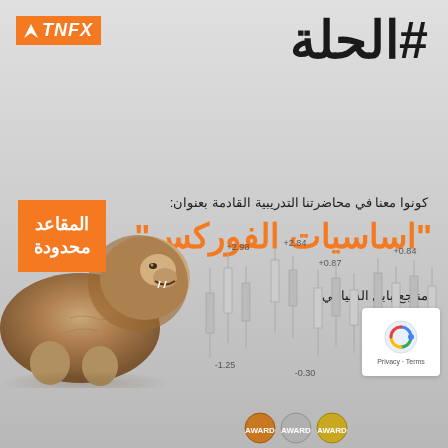[Figure (logo): TNFX logo in orange box with italic white text]
#الحلة
[Figure (illustration): Orange square badge with white Arabic text المقاعد محدودة (Limited seats)]
كونوا معنا في محاضرتنا التدريبية القادمة بعنوان:
"اساسيات الفوركس"
منتجع بابل السياحي
02/11
03:00 م
[Figure (photo): Stone lion statue photograph]
[Figure (other): Candlestick financial chart in background with values +2.84, +0.84, +2.98, +0.87, -1.25, -0.30 displayed]
[Figure (other): reCAPTCHA badge and award icons at bottom]